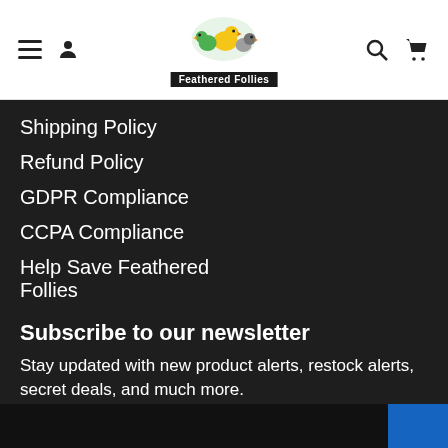[Figure (logo): Feathered Follies logo with colorful birds and black label bar]
Shipping Policy
Refund Policy
GDPR Compliance
CCPA Compliance
Help Save Feathered Follies
Subscribe to our newsletter
Stay updated with new product alerts, restock alerts, secret deals, and much more.